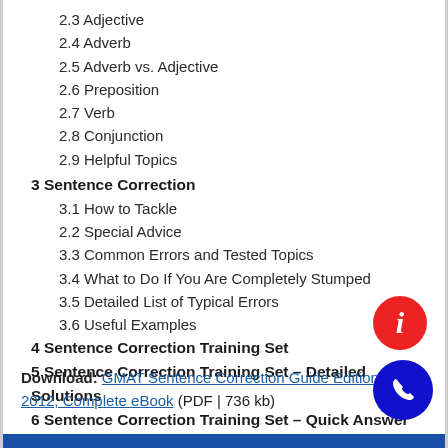2.3 Adjective
2.4 Adverb
2.5 Adverb vs. Adjective
2.6 Preposition
2.7 Verb
2.8 Conjunction
2.9 Helpful Topics
3 Sentence Correction
3.1 How to Tackle
2.2 Special Advice
3.3 Common Errors and Tested Topics
3.4 What to Do If You Are Completely Stumped
3.5 Detailed List of Typical Errors
3.6 Useful Examples
4 Sentence Correction Training Set
5 Sentence Correction Training Set – Detailed Solutions
6 Sentence Correction Training Set – Quick Answer Keys
Download: GMAT Sentence Correction Guide Edition - 2012, Complete eBook (PDF | 736 kb)